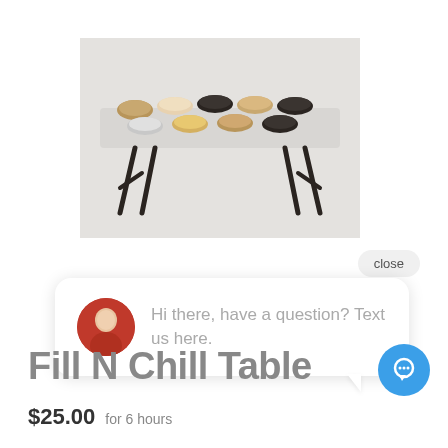[Figure (photo): A folding table with multiple bowls of food/snacks arranged on top, photographed against a white background.]
close
Hi there, have a question? Text us here.
Fill N Chill Table
$25.00  for 6 hours